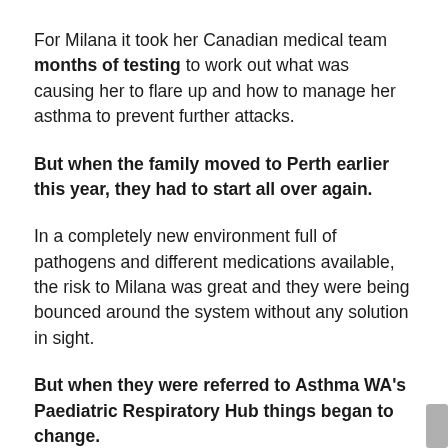For Milana it took her Canadian medical team months of testing to work out what was causing her to flare up and how to manage her asthma to prevent further attacks.
But when the family moved to Perth earlier this year, they had to start all over again.
In a completely new environment full of pathogens and different medications available, the risk to Milana was great and they were being bounced around the system without any solution in sight.
But when they were referred to Asthma WA's Paediatric Respiratory Hub things began to change.
“Until we found Asthma WA and the Paediatric Hub, we